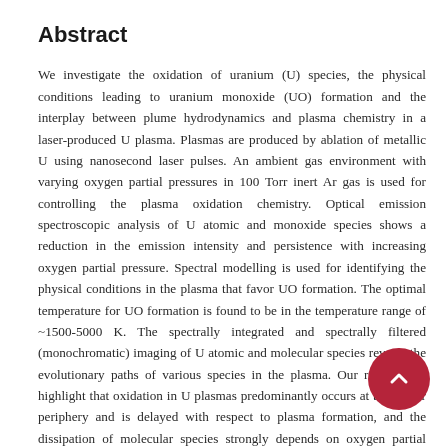Abstract
We investigate the oxidation of uranium (U) species, the physical conditions leading to uranium monoxide (UO) formation and the interplay between plume hydrodynamics and plasma chemistry in a laser-produced U plasma. Plasmas are produced by ablation of metallic U using nanosecond laser pulses. An ambient gas environment with varying oxygen partial pressures in 100 Torr inert Ar gas is used for controlling the plasma oxidation chemistry. Optical emission spectroscopic analysis of U atomic and monoxide species shows a reduction in the emission intensity and persistence with increasing oxygen partial pressure. Spectral modelling is used for identifying the physical conditions in the plasma that favor UO formation. The optimal temperature for UO formation is found to be in the temperature range of ~1500-5000 K. The spectrally integrated and spectrally filtered (monochromatic) imaging of U atomic and molecular species reveals the evolutionary paths of various species in the plasma. Our results also highlight that oxidation in U plasmas predominantly occurs at the cooler periphery and is delayed with respect to plasma formation, and the dissipation of molecular species strongly depends on oxygen partial pressure.